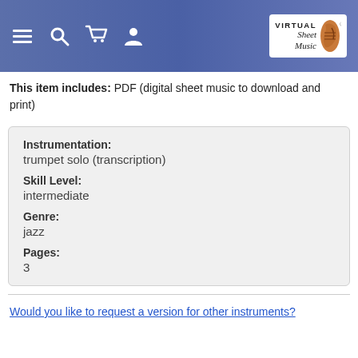Virtual Sheet Music - navigation header
This item includes: PDF (digital sheet music to download and print)
| Field | Value |
| --- | --- |
| Instrumentation: | trumpet solo (transcription) |
| Skill Level: | intermediate |
| Genre: | jazz |
| Pages: | 3 |
Would you like to request a version for other instruments?